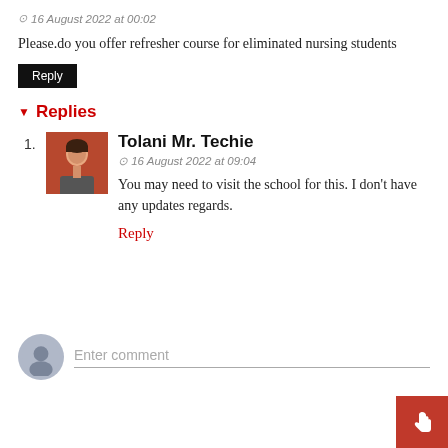16 August 2022 at 00:02
Please.do you offer refresher course for eliminated nursing students
Reply
Replies
Tolani Mr. Techie
16 August 2022 at 09:04
You may need to visit the school for this. I don't have any updates regards.
Reply
Enter comment